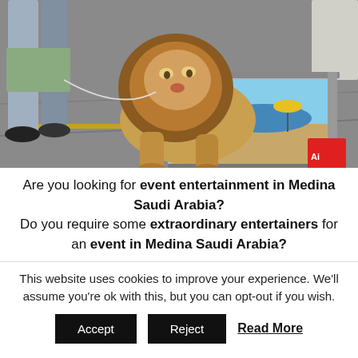[Figure (photo): 3D street chalk art of a lion emerging from a flat painting/screen on pavement, with a person's legs visible in the background. An Adobe logo is visible in the bottom right corner.]
Are you looking for event entertainment in Medina Saudi Arabia? Do you require some extraordinary entertainers for an event in Medina Saudi Arabia?
This website uses cookies to improve your experience. We'll assume you're ok with this, but you can opt-out if you wish.
Accept | Reject | Read More